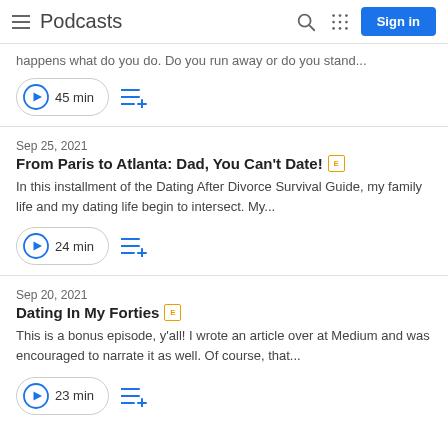Podcasts
happens what do you do. Do you run away or do you stand...
45 min
Sep 25, 2021
From Paris to Atlanta: Dad, You Can't Date! [E]
In this installment of the Dating After Divorce Survival Guide, my family life and my dating life begin to intersect. My...
24 min
Sep 20, 2021
Dating In My Forties [E]
This is a bonus episode, y'all! I wrote an article over at Medium and was encouraged to narrate it as well. Of course, that...
23 min